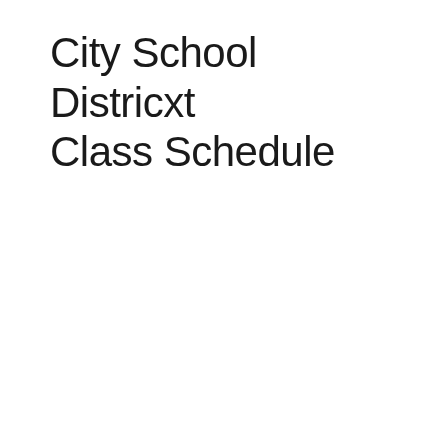City School Districxt Class Schedule